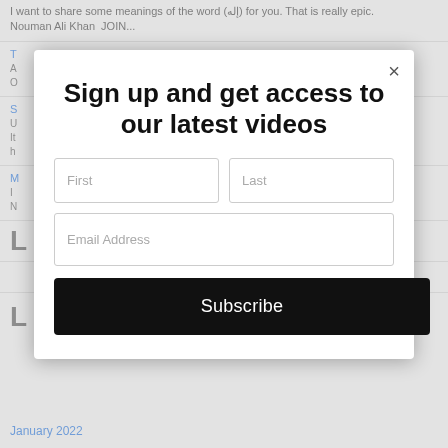I want to share some meanings of the word (إله) for you. That is really epic. Nouman Ali Khan JOIN...
T
A
O
S
U
It
h
M
I
N
L
L
January 2022
Sign up and get access to our latest videos
First
Last
Email Address
Subscribe